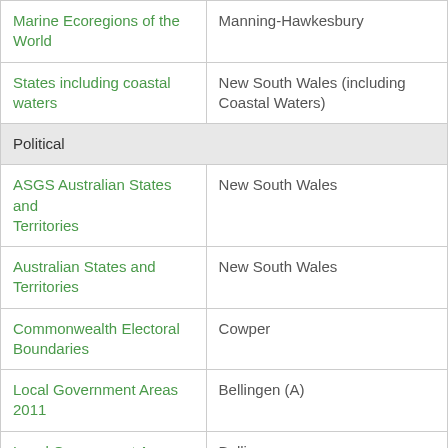| Category | Value |
| --- | --- |
| Marine Ecoregions of the World | Manning-Hawkesbury |
| States including coastal waters | New South Wales (including Coastal Waters) |
| Political |  |
| ASGS Australian States and Territories | New South Wales |
| Australian States and Territories | New South Wales |
| Commonwealth Electoral Boundaries | Cowper |
| Local Government Areas 2011 | Bellingen (A) |
| Local Government Areas 2012 deprecated | Bellingen |
| Local Government Areas PSMA 2018 | BELLINGEN SHIRE COUNCIL |
| NSW Local Land Services | North Coast |